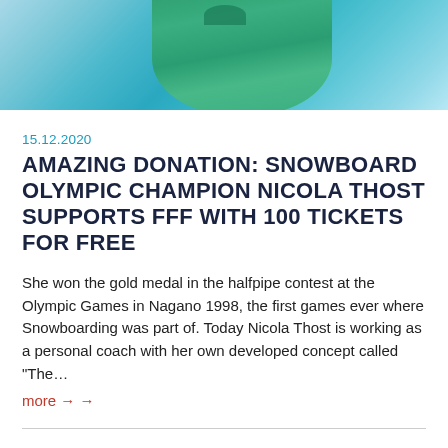[Figure (photo): Person in teal/green winter jacket against a snowy outdoor background, partially cropped at top of page]
15.12.2020
AMAZING DONATION: SNOWBOARD OLYMPIC CHAMPION NICOLA THOST SUPPORTS FFF WITH 100 TICKETS FOR FREE
She won the gold medal in the halfpipe contest at the Olympic Games in Nagano 1998, the first games ever where Snowboarding was part of. Today Nicola Thost is working as a personal coach with her own developed concept called "The…
more →